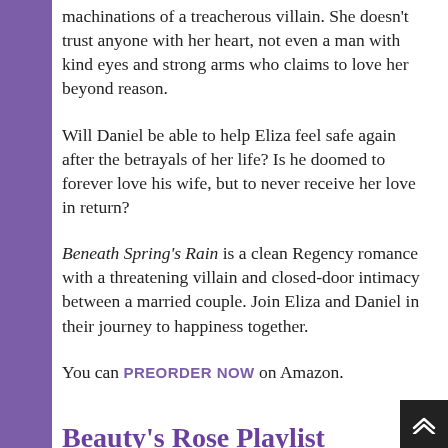machinations of a treacherous villain. She doesn't trust anyone with her heart, not even a man with kind eyes and strong arms who claims to love her beyond reason.
Will Daniel be able to help Eliza feel safe again after the betrayals of her life? Is he doomed to forever love his wife, but to never receive her love in return?
Beneath Spring's Rain is a clean Regency romance with a threatening villain and closed-door intimacy between a married couple. Join Eliza and Daniel in their journey to happiness together.
You can PREORDER NOW on Amazon.
Beauty's Rose Playlist
purplerebecca   June 9, 2019   Fiction,